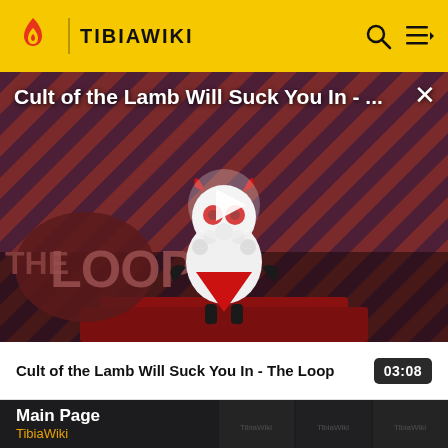TIBIAWIKI
[Figure (screenshot): Video thumbnail for 'Cult of the Lamb Will Suck You In - The Loop' showing an animated lamb character with red eyes on a striped red and dark background with 'THE LOOP' text. A play button is overlaid in the center.]
Cult of the Lamb Will Suck You In - The Loop
03:08
Main Page
TibiaWiki